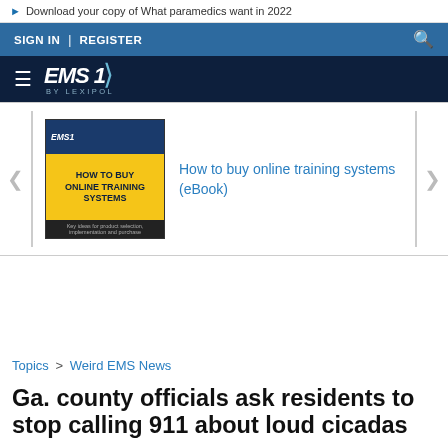▶ Download your copy of What paramedics want in 2022
SIGN IN | REGISTER
[Figure (logo): EMS1 by Lexipol logo on dark navy background with hamburger menu]
[Figure (illustration): EMS1 How to buy Online Training Systems eBook promotional card]
How to buy online training systems (eBook)
Topics > Weird EMS News
Ga. county officials ask residents to stop calling 911 about loud cicadas